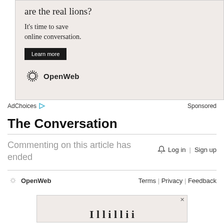[Figure (screenshot): Advertisement box with text 'are the real lions?', 'It's time to save online conversation.', a 'Learn more' dark button, and OpenWeb logo]
AdChoices  Sponsored
The Conversation
Commenting on this article has ended
Log in | Sign up
OpenWeb   Terms | Privacy | Feedback
[Figure (screenshot): Bottom advertisement with close X button and partial headline text]